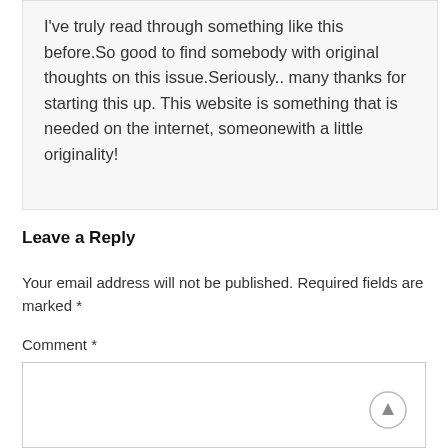I've truly read through something like this before.So good to find somebody with original thoughts on this issue.Seriously.. many thanks for starting this up. This website is something that is needed on the internet, someonewith a little originality!
Leave a Reply
Your email address will not be published. Required fields are marked *
Comment *